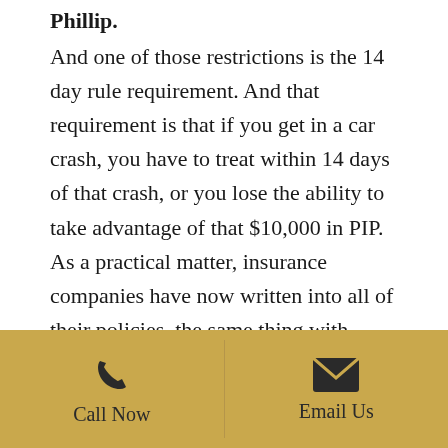Phillip.
And one of those restrictions is the 14 day rule requirement. And that requirement is that if you get in a car crash, you have to treat within 14 days of that crash, or you lose the ability to take advantage of that $10,000 in PIP. As a practical matter, insurance companies have now written into all of their policies, the same thing with medical payments coverage, so if you don't treat within 14 days, even though you paid for your PIP coverage and you paid for that
Call Now | Email Us